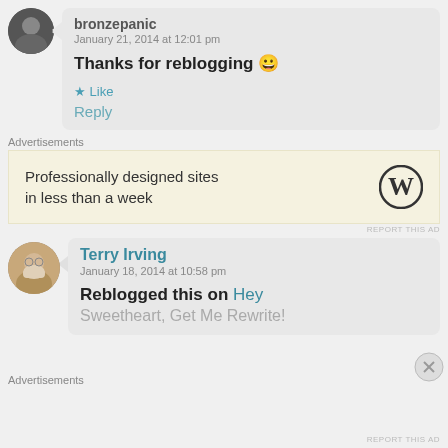[Figure (photo): User avatar - dark photo of a person, circular crop]
bronzepanic
January 21, 2014 at 12:01 pm
Thanks for reblogging 😀
★ Like
Reply
Advertisements
[Figure (infographic): WordPress advertisement: Professionally designed sites in less than a week, with WordPress logo]
REPORT THIS AD
[Figure (photo): User avatar - older man with beard, circular crop]
Terry Irving
January 18, 2014 at 10:58 pm
Reblogged this on Hey
Sweetheart, Get Me Rewrite!
Advertisements
REPORT THIS AD